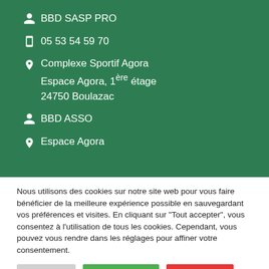BBD SASP PRO
05 53 54 59 70
Complexe Sportif Agora
Espace Agora, 1ère étage
24750 Boulazac
BBD ASSO
Espace Agora
Nous utilisons des cookies sur notre site web pour vous faire bénéficier de la meilleure expérience possible en sauvegardant vos préférences et visites. En cliquant sur "Tout accepter", vous consentez à l'utilisation de tous les cookies. Cependant, vous pouvez vous rendre dans les réglages pour affiner votre consentement.
Réglages | Tout accepter | Tout rejeter